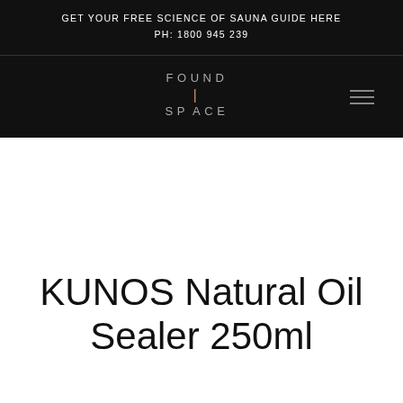GET YOUR FREE SCIENCE OF SAUNA GUIDE HERE
PH: 1800 945 239
[Figure (logo): Found Space logo with 'FOUND' on top, vertical divider line in copper/gold color, and 'SPACE' below, with hamburger menu icon to the right]
KUNOS Natural Oil Sealer 250ml